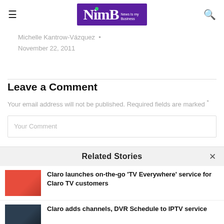[Figure (logo): NimB - News Is My Business logo with purple background and green dot above the i]
Michelle Kantrow-Vázquez • November 22, 2011
Leave a Comment
Your email address will not be published. Required fields are marked *
Your Comment
Related Stories
Claro launches on-the-go 'TV Everywhere' service for Claro TV customers
Claro adds channels, DVR Schedule to IPTV service